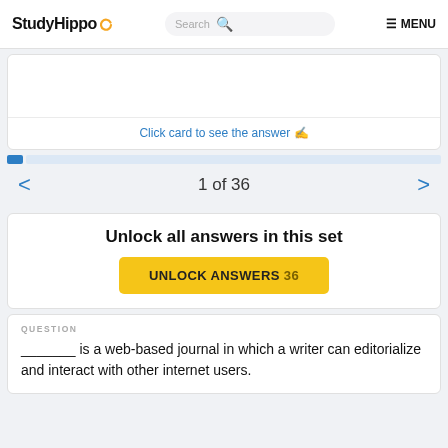StudyHippo
Click card to see the answer
1 of 36
Unlock all answers in this set
UNLOCK ANSWERS 36
QUESTION
_______ is a web-based journal in which a writer can editorialize and interact with other internet users.